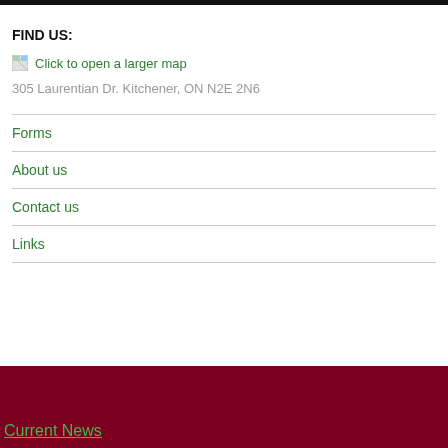FIND US:
[Figure (other): Broken image icon with map link: Click to open a larger map]
305 Laurentian Dr. Kitchener, ON N2E 2N6
Forms
About us
Contact us
Links
Current News